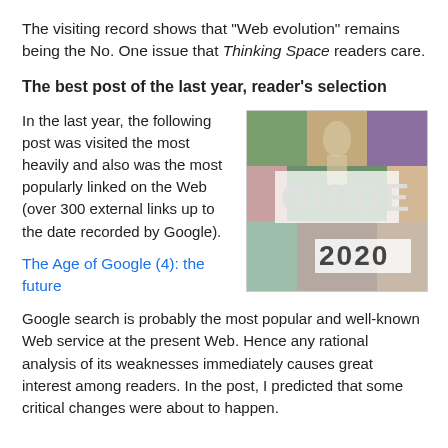The visiting record shows that "Web evolution" remains being the No. One issue that Thinking Space readers care.
The best post of the last year, reader's selection
In the last year, the following post was visited the most heavily and also was the most popularly linked on the Web (over 300 external links up to the date recorded by Google).
[Figure (illustration): Collage image with the word GUIDE and the number 2020, composed of multiple smaller photos of people and scenes]
The Age of Google (4): the future
Google search is probably the most popular and well-known Web service at the present Web. Hence any rational analysis of its weaknesses immediately causes great interest among readers. In the post, I predicted that some critical changes were about to happen.